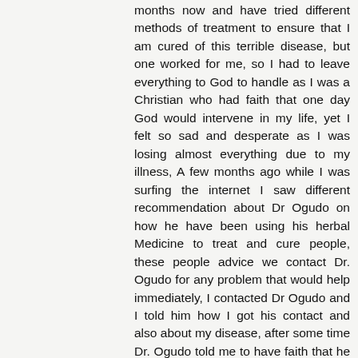months now and have tried different methods of treatment to ensure that I am cured of this terrible disease, but one worked for me, so I had to leave everything to God to handle as I was a Christian who had faith that one day God would intervene in my life, yet I felt so sad and desperate as I was losing almost everything due to my illness, A few months ago while I was surfing the internet I saw different recommendation about Dr Ogudo on how he have been using his herbal Medicine to treat and cure people, these people advice we contact Dr. Ogudo for any problem that would help immediately, I contacted Dr Ogudo and I told him how I got his contact and also about my disease, after some time Dr. Ogudo told me to have faith that he would prepare for me a medication of herbal herbs, he told me I would take this medicine for a few weeks and also asked my home for home address so as possible for him to submit the drug for me, so my good friends after all the process and everything Dr Ogudo